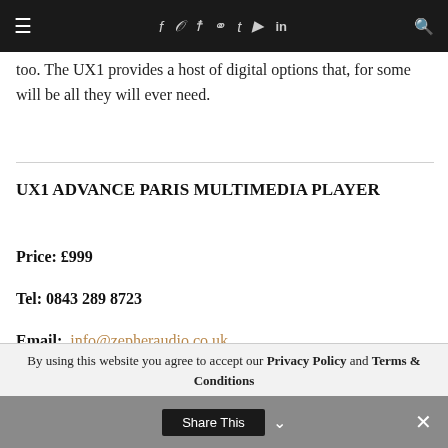≡  f  ✦  ☷  ⊕  t  ▶  in  🔍
too. The UX1 provides a host of digital options that, for some will be all they will ever need.
UX1 ADVANCE PARIS MULTIMEDIA PLAYER
Price: £999
Tel: 0843 289 8723
Email: info@zepheraudio.co.uk
By using this website you agree to accept our Privacy Policy and Terms & Conditions
Share This  ∨  ✕